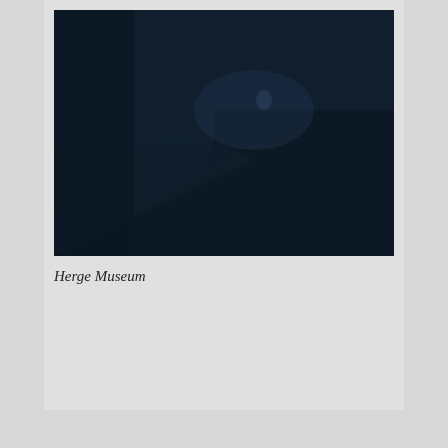[Figure (photo): Dark interior photograph, mostly dark blue/black tones, appears to be an inside view of a museum or dark space]
Herge Museum
[Figure (photo): Exterior photograph of an old white stone building with a steeply pitched roof, surrounded by trees, taken at dusk or dawn]